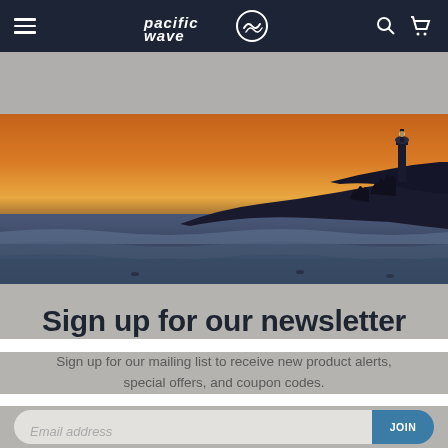pacific wave — navigation bar with hamburger menu, logo, search and cart icons
[Figure (photo): Sunset beach scene with lighthouse silhouette on the right, orange and dark sky gradient, ocean waves in foreground]
Sign up for our newsletter
Sign up for our mailing list to receive new product alerts, special offers, and coupon codes.
Email address — JOIN button